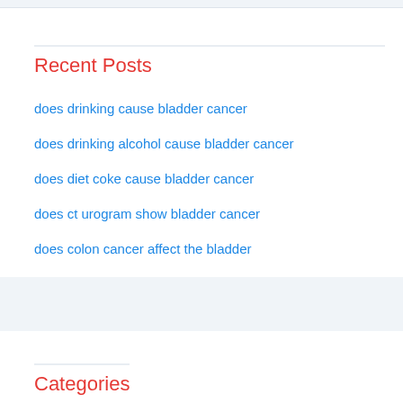Recent Posts
does drinking cause bladder cancer
does drinking alcohol cause bladder cancer
does diet coke cause bladder cancer
does ct urogram show bladder cancer
does colon cancer affect the bladder
Categories